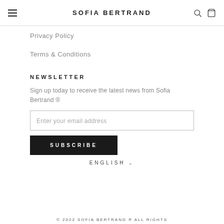SOFIA BERTRAND
Privacy Policy
Terms & Conditions
NEWSLETTER
Sign up today to receive the latest news from Sofia Bertrand ®
Enter your email address
SUBSCRIBE
ENGLISH
© 2022 SOFIA BERTRAND ® ALL RIGHTS